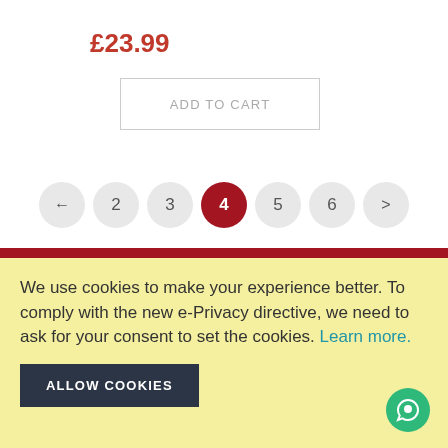£23.99
ADD TO CART
[Figure (other): Pagination control with buttons: left arrow, 2, 3, 4 (active/highlighted in red), 5, 6, right arrow]
We use cookies to make your experience better. To comply with the new e-Privacy directive, we need to ask for your consent to set the cookies. Learn more.
ALLOW COOKIES